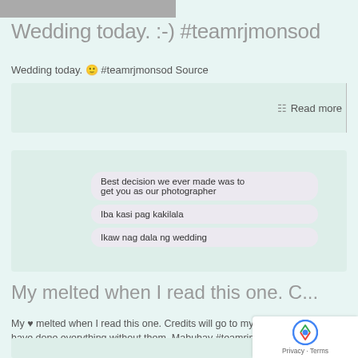[Figure (photo): Partial image visible at top of page (cropped photo strip)]
Wedding today. :-) #teamrjmonsod
Wedding today. 🙂 #teamrjmonsod Source
[Figure (screenshot): Screenshot of chat messages: 'Best decision we ever made was to get you as our photographer', 'Iba kasi pag kakilala', 'Ikaw nag dala ng wedding']
My melted when I read this one. C...
My ♥ melted when I read this one. Credits will go to my team. Couldn't have done everything without them. Mabuhay #teamrjmonsod Source